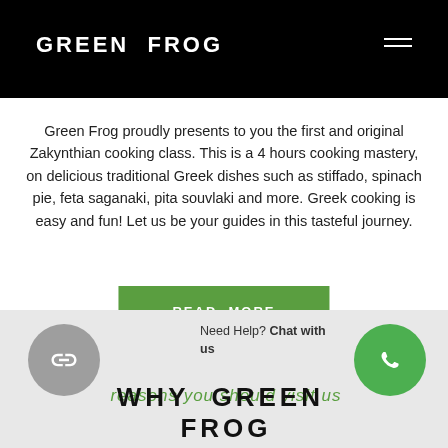GREEN FROG
Green Frog proudly presents to you the first and original Zakynthian cooking class. This is a 4 hours cooking mastery, on delicious traditional Greek dishes such as stiffado, spinach pie, feta saganaki, pita souvlaki and more. Greek cooking is easy and fun! Let us be your guides in this tasteful journey.
READ MORE
Need Help? Chat with us
reasons you should visit us
WHY GREEN FROG